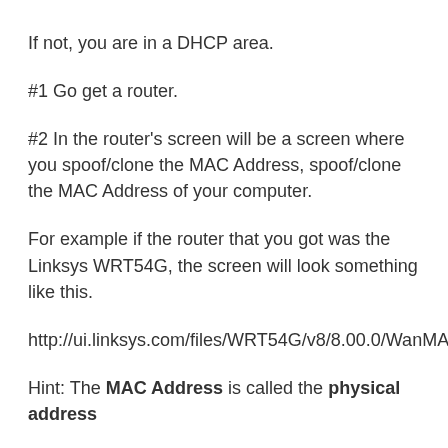If not, you are in a DHCP area.
#1 Go get a router.
#2 In the router's screen will be a screen where you spoof/clone the MAC Address, spoof/clone the MAC Address of your computer.
For example if the router that you got was the Linksys WRT54G, the screen will look something like this.
http://ui.linksys.com/files/WRT54G/v8/8.00.0/WanMAC.htm
Hint: The MAC Address is called the physical address